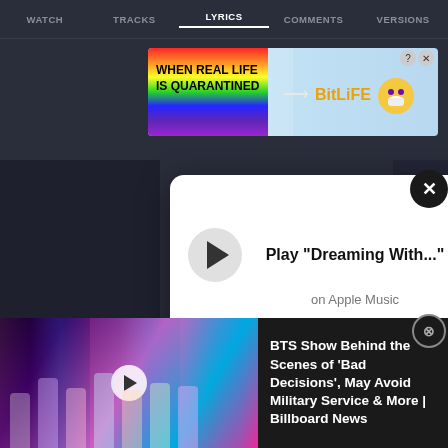WATCH   TRACKS   LYRICS   COMMENTS   VERSIONS
[Figure (screenshot): BitLife advertisement banner: 'WHEN REAL LIFE IS QUARANTINED → BitLife' with rainbow background and cartoon character wearing mask]
[Figure (screenshot): Apple Music popup player with play button, text 'Play "Dreaming With..."' and 'on Apple Music', volume icon, and close X button]
[Figure (screenshot): BTS video thumbnail showing group of men in colorful suits on stage with neon lights and play button overlay]
BTS Show Behind the Scenes of 'Bad Decisions', May Avoid Military Service & More | Billboard News